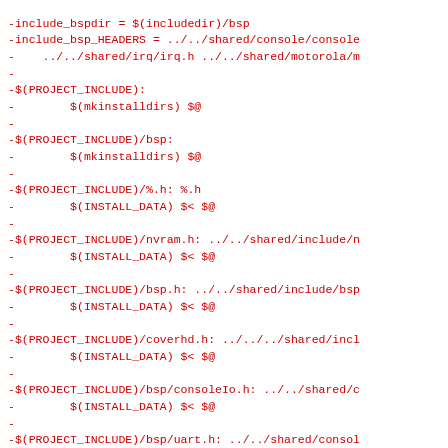Makefile code snippet showing build rules for BSP headers and install targets